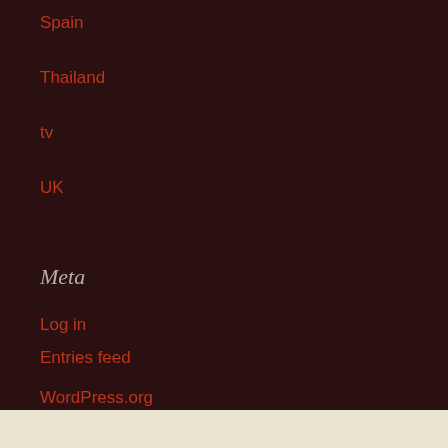Spain
Thailand
tv
UK
Meta
Log in
Entries feed
Comments feed
WordPress.org
Proudly powered by WordPress